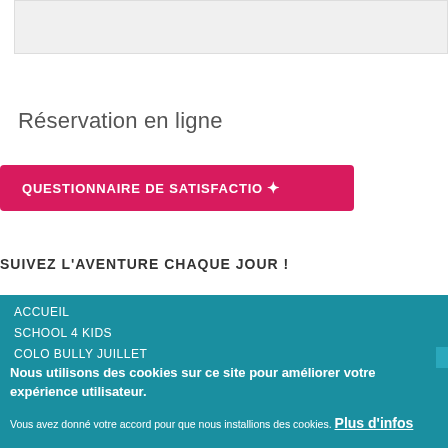[Figure (other): Light grey box at the top of the page, partially visible]
Réservation en ligne
QUESTIONNAIRE DE SATISFACTION
SUIVEZ L'AVENTURE CHAQUE JOUR !
ACCUEIL
SCHOOL 4 KIDS
COLO BULLY JUILLET
Nous utilisons des cookies sur ce site pour améliorer votre expérience utilisateur.
Vous avez donné votre accord pour que nous installions des cookies. Plus d'infos